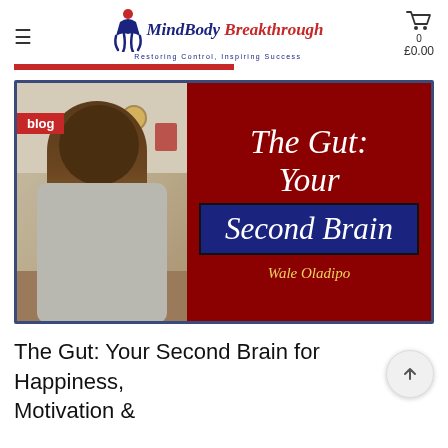MindBody Breakthrough — Restoring Control, Inspiring Success
[Figure (photo): Blog post thumbnail showing a smiling man on the left side and red background with text 'The Gut: Your Second Brain' by Wale Oladipo on the right. A 'blog' tag is shown in the upper left corner of the image.]
The Gut: Your Second Brain for Happiness, Motivation &